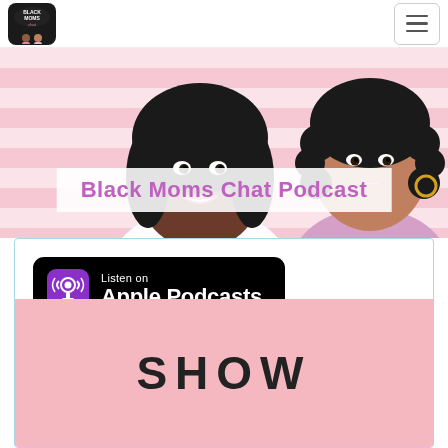[Figure (logo): Black Moms Chat podcast logo in top left nav]
[Figure (illustration): Illustrated cartoon of two Black women on pink striped background - podcast hero image]
Black Moms Chat Podcast
[Figure (logo): Listen on Apple Podcasts badge - black rounded rectangle with purple podcast icon]
SHOW